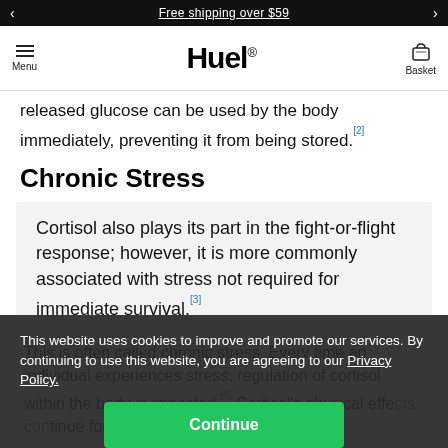Free shipping over $59
[Figure (logo): Huel logo with Menu and Basket navigation]
released glucose can be used by the body immediately, preventing it from being stored.[2]
Chronic Stress
Cortisol also plays its part in the fight-or-flight response; however, it is more commonly associated with stress not required for immediate survival.[3]
This is often called chronic stress. Every time an individual experiences stress, regulation of cortisol within the body is impacted.[4] Cortisol's physical effects continue for much longer than a
This website uses cookies to improve and promote our services. By continuing to use this website, you are agreeing to our Privacy Policy.
Continue